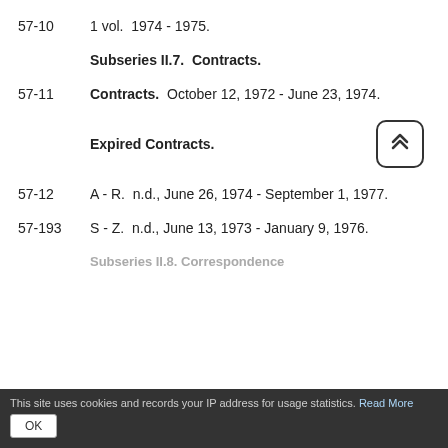57-10    1 vol.  1974 - 1975.
Subseries II.7.  Contracts.
57-11    Contracts.  October 12, 1972 - June 23, 1974.
Expired Contracts.
57-12    A - R.  n.d., June 26, 1974 - September 1, 1977.
57-193    S - Z.  n.d., June 13, 1973 - January 9, 1976.
This site uses cookies and records your IP address for usage statistics. Read More